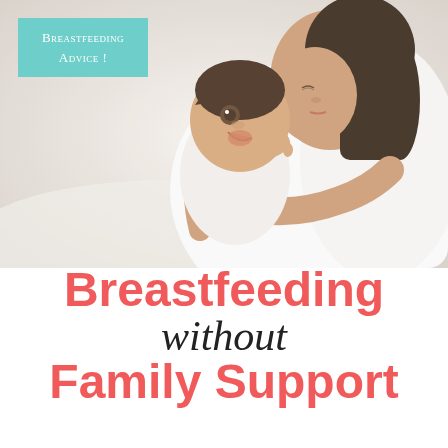[Figure (photo): A woman in a white top holds a newborn baby up to her face, kissing the baby's cheek. The baby's mouth is open and eyes are wide. White background.]
Breastfeeding Advice!
Breastfeeding without Family Support